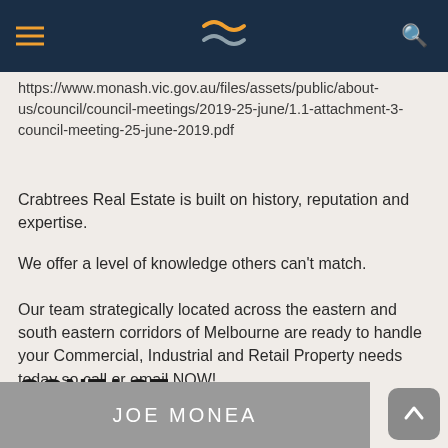Crabtrees Real Estate website header with logo and navigation
https://www.monash.vic.gov.au/files/assets/public/about-us/council/council-meetings/2019-25-june/1.1-attachment-3-council-meeting-25-june-2019.pdf
Crabtrees Real Estate is built on history, reputation and expertise.
We offer a level of knowledge others can't match.
Our team strategically located across the eastern and south eastern corridors of Melbourne are ready to handle your Commercial, Industrial and Retail Property needs today so call or email NOW!
CONTACT
JOE MONEA